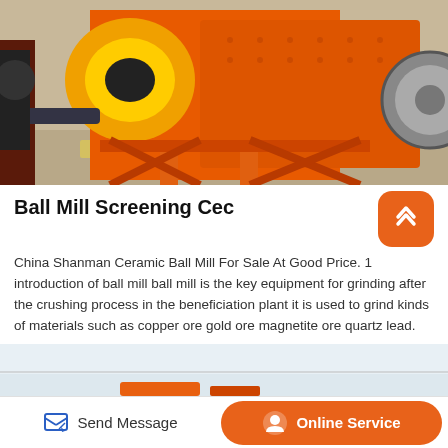[Figure (photo): Large orange industrial ball mill machine on a factory floor, with yellow and orange cylindrical drum, red support structure, and visible gear mechanism on the right side.]
Ball Mill Screening Cec
China Shanman Ceramic Ball Mill For Sale At Good Price. 1 introduction of ball mill ball mill is the key equipment for grinding after the crushing process in the beneficiation plant it is used to grind kinds of materials such as copper ore gold ore magnetite ore quartz lead.
[Figure (photo): Partial view of another industrial machine in a factory setting, light-colored interior.]
Send Message   Online Service